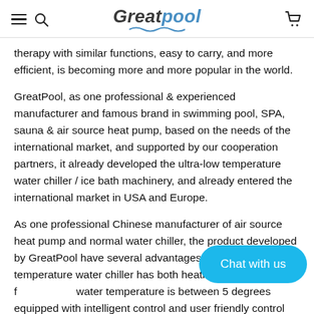Greatpool
therapy with similar functions, easy to carry, and more efficient, is becoming more and more popular in the world.
GreatPool, as one professional & experienced manufacturer and famous brand in swimming pool, SPA, sauna & air source heat pump, based on the needs of the international market, and supported by our cooperation partners, it already developed the ultra-low temperature water chiller / ice bath machinery, and already entered the international market in USA and Europe.
As one professional Chinese manufacturer of air source heat pump and normal water chiller, the product developed by GreatPool have several advantages. The ultra-low temperature water chiller has both heating & cooling f… water temperature is between 5 degrees… equipped with intelligent control and user friendly control panel, the user could achieve the temperature modification by each 1…
[Figure (other): Blue 'Chat with us' button overlay in lower right area of page]